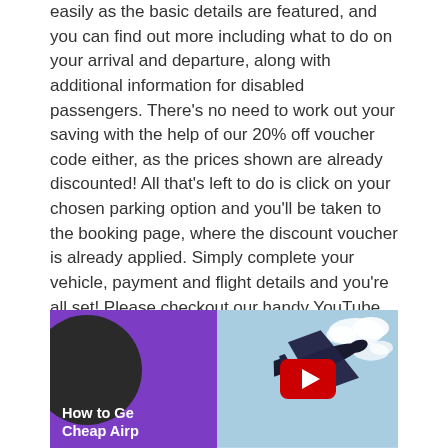easily as the basic details are featured, and you can find out more including what to do on your arrival and departure, along with additional information for disabled passengers. There's no need to work out your saving with the help of our 20% off voucher code either, as the prices shown are already discounted! All that's left to do is click on your chosen parking option and you'll be taken to the booking page, where the discount voucher is already applied. Simply complete your vehicle, payment and flight details and you're all set! Please checkout our handy YouTube Video with step by step guide on how to use our airport parking widget:
[Figure (screenshot): YouTube video thumbnail showing 'How to Get Cheap Airport Parking' with a dark circle play button area on a purple background left half and an airplane in blue sky on the right half, with a red YouTube play button overlay in the center.]